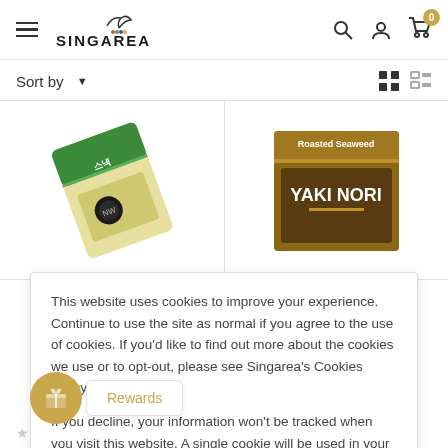[Figure (screenshot): Singarea e-commerce website header with hamburger menu, Singarea logo with colorful dots, search icon, user icon, and cart icon with badge showing 0]
Sort by ▾
[Figure (photo): Product image: Korean seaweed snack package tilted, green and yellow packaging with Korean text]
[Figure (photo): Product image: Yaki Nori roasted seaweed in brown packaging]
This website uses cookies to improve your experience. Continue to use the site as normal if you agree to the use of cookies. If you'd like to find out more about the cookies we use or to opt-out, please see Singarea's Cookies Policy.

If you decline, your information won't be tracked when you visit this website. A single cookie will be used in your browser to remember your preference not to be tracked.
Rewards
★ ★ ★ ★ ★ No reviews